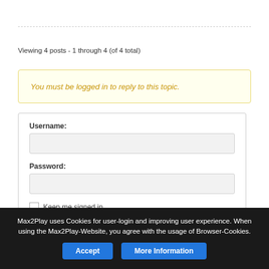Viewing 4 posts - 1 through 4 (of 4 total)
You must be logged in to reply to this topic.
Username:
Password:
Keep me signed in
Max2Play uses Cookies for user-login and improving user experience. When using the Max2Play-Website, you agree with the usage of Browser-Cookies.
Accept
More Information